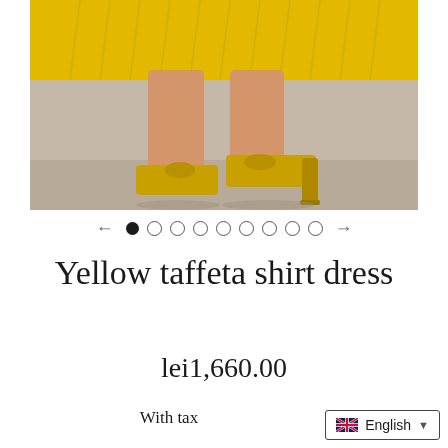[Figure (photo): Close-up photo of a model's legs wearing a yellow taffeta pleated dress and gold metallic block-heeled mule sandals against a light grey background]
← ● ○ ○ ○ ○ ○ ○ ○ ○ →
Yellow taffeta shirt dress
lei1,660.00
With tax